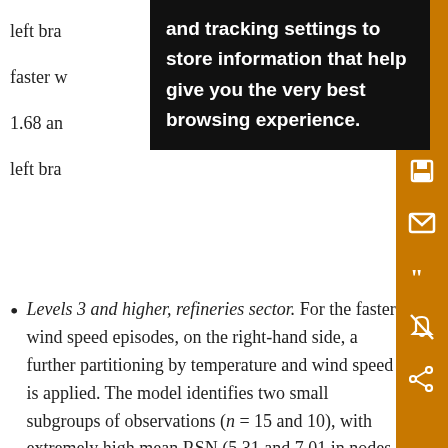left bra... and tracking settings to store information that help give you the very best browsing experience. ...ng faster w...f 1.68 an...the left bra...
Levels 3 and higher, refineries sector. For the faster wind speed episodes, on the right-hand side, a further partitioning by temperature and wind speed is applied. The model identifies two small subgroups of observations (n = 15 and 10), with extremely high mean RSN (5.31 and 7.01 in nodes 7 and 9, respectively). It is clear that the RSN does not increase monotonically with temperature. The relative error of this branch is lower than that of the left branch (E² = 0.73). These findings are consistent with the descriptive analysis of section 2 and with the